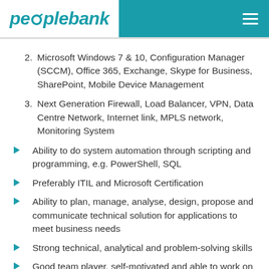peoplebank
2. Microsoft Windows 7 & 10, Configuration Manager (SCCM), Office 365, Exchange, Skype for Business, SharePoint, Mobile Device Management
3. Next Generation Firewall, Load Balancer, VPN, Data Centre Network, Internet link, MPLS network, Monitoring System
Ability to do system automation through scripting and programming, e.g. PowerShell, SQL
Preferably ITIL and Microsoft Certification
Ability to plan, manage, analyse, design, propose and communicate technical solution for applications to meet business needs
Strong technical, analytical and problem-solving skills
Good team player, self-motivated and able to work on...